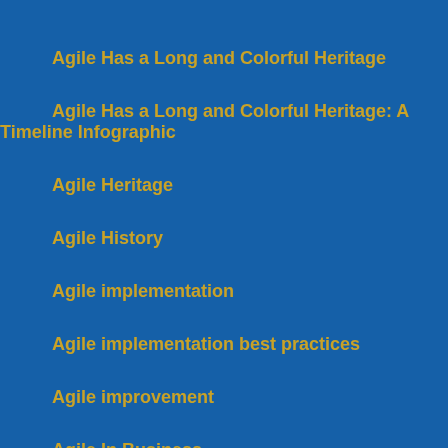Agile Has a Long and Colorful Heritage
Agile Has a Long and Colorful Heritage: A Timeline Infographic
Agile Heritage
Agile History
Agile implementation
Agile implementation best practices
Agile improvement
Agile In Business
Agile Influencer